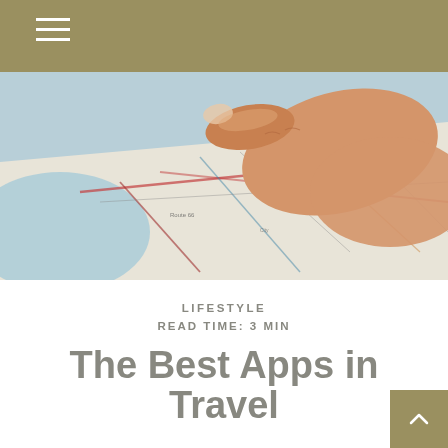≡ (navigation menu icon)
[Figure (photo): Close-up of a hand pointing at a paper road map, with colorful roads and place names visible. Light blue area visible on left side of map.]
LIFESTYLE
READ TIME: 3 MIN
The Best Apps in Travel
Instagram
Yes, Instagram doesn't seem like a travel app at first glance, but Instagram allows a quick, easy way to share